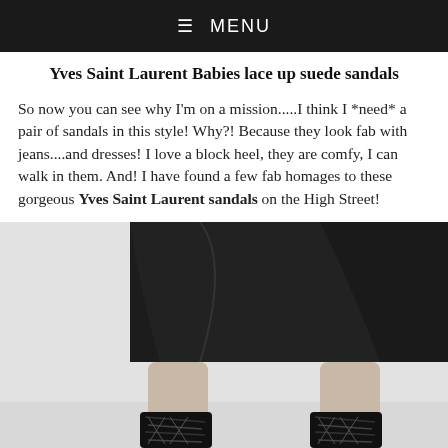≡ MENU
Yves Saint Laurent Babies lace up suede sandals
So now you can see why I'm on a mission.....I think I *need* a pair of sandals in this style! Why?! Because they look fab with jeans....and dresses! I love a block heel, they are comfy, I can walk in them. And! I have found a few fab homages to these gorgeous Yves Saint Laurent sandals on the High Street!
[Figure (photo): Photo of person wearing black lace-up sandals with block heel, paired with a black wrap skirt. The image shows the lower body from mid-thigh down, against a light grey/white background.]